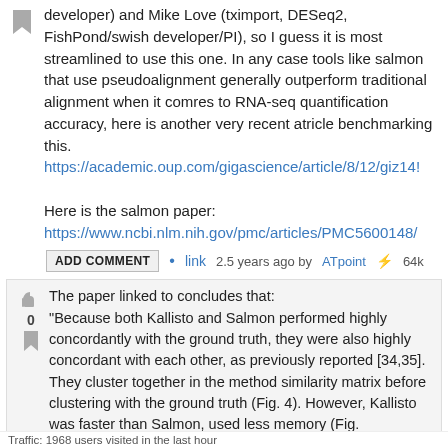developer) and Mike Love (tximport, DESeq2, FishPond/swish developer/PI), so I guess it is most streamlined to use this one. In any case tools like salmon that use pseudoalignment generally outperform traditional alignment when it comres to RNA-seq quantification accuracy, here is another very recent atricle benchmarking this. https://academic.oup.com/gigascience/article/8/12/giz14...
Here is the salmon paper: https://www.ncbi.nlm.nih.gov/pmc/articles/PMC5600148/
ADD COMMENT • link 2.5 years ago by ATpoint ⚡ 64k
The paper linked to concludes that: "Because both Kallisto and Salmon performed highly concordantly with the ground truth, they were also highly concordant with each other, as previously reported [34,35]. They cluster together in the method similarity matrix before clustering with the ground truth (Fig. 4). However, Kallisto was faster than Salmon, used less memory (Fig. ...) better at sample- and gene-
Traffic: 1968 users visited in the last hour